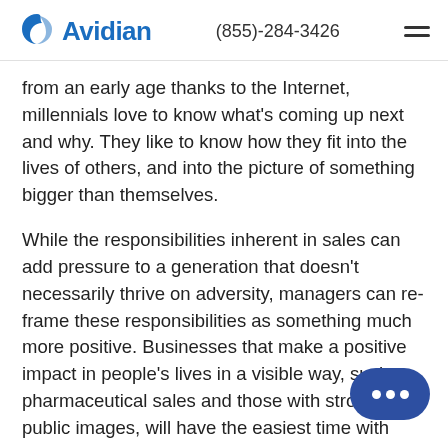Avidian  (855)-284-3426
from an early age thanks to the Internet, millennials love to know what's coming up next and why. They like to know how they fit into the lives of others, and into the picture of something bigger than themselves.
While the responsibilities inherent in sales can add pressure to a generation that doesn't necessarily thrive on adversity, managers can re-frame these responsibilities as something much more positive. Businesses that make a positive impact in people's lives in a visible way, such as pharmaceutical sales and those with strong public images, will have the easiest time with this, but selling millennials on sales will always start here. Show them how the sales role affects others positively both inside and outside the organization, and the millennials will come.